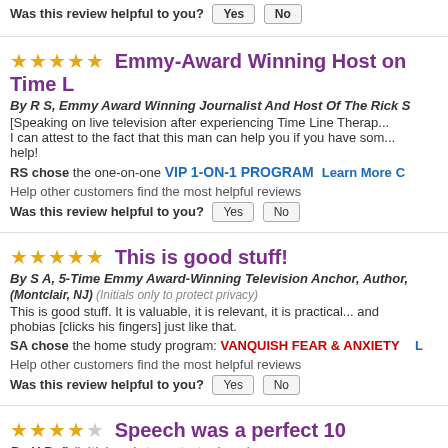Was this review helpful to you? Yes No
Emmy-Award Winning Host on Time L
By R S, Emmy Award Winning Journalist And Host Of The Rick S
[Speaking on live television after experiencing Time Line Therap... I can attest to the fact that this man can help you if you have som... help!
RS chose the one-on-one VIP 1-ON-1 PROGRAM Learn More C
Help other customers find the most helpful reviews
Was this review helpful to you? Yes No
This is good stuff!
By S A, 5-Time Emmy Award-Winning Television Anchor, Author,
(Montclair, NJ) (Initials only to protect privacy)
This is good stuff. It is valuable, it is relevant, it is practical... and phobias [clicks his fingers] just like that.
SA chose the home study program: VANQUISH FEAR & ANXIETY  L
Help other customers find the most helpful reviews
Was this review helpful to you? Yes No
Speech was a perfect 10
By H B, () (Initials only to protect privacy)